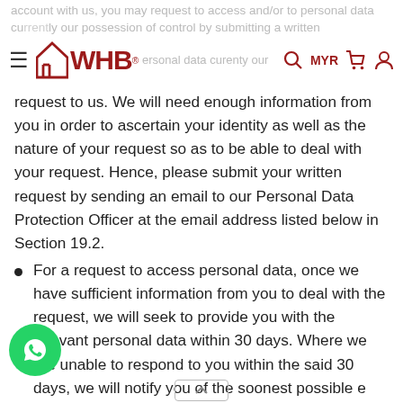account with us, you may request to access and/or to personal data currently our possession or control by submitting a written
request to us. We will need enough information from you in order to ascertain your identity as well as the nature of your request so as to be able to deal with your request. Hence, please submit your written request by sending an email to our Personal Data Protection Officer at the email address listed below in Section 19.2.
For a request to access personal data, once we have sufficient information from you to deal with the request, we will seek to provide you with the relevant personal data within 30 days. Where we are unable to respond to you within the said 30 days, we will notify you of the soonest possible e within which we can provide you with the ormation requested. Note that Privacy Laws may exempt certain types of personal data from being